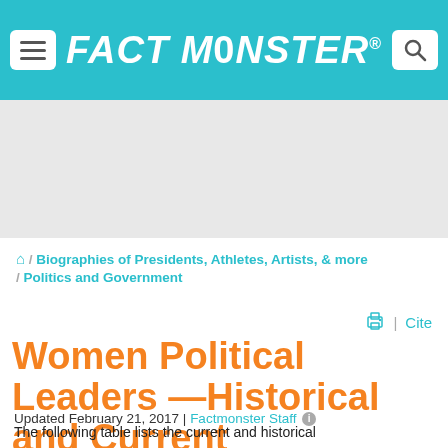FACT MONSTER
[Figure (other): Advertisement / grey placeholder area]
🏠 / Biographies of Presidents, Athletes, Artists, & more / Politics and Government
🖨 | Cite
Women Political Leaders —Historical and Current
Updated February 21, 2017 | Factmonster Staff ℹ
The following table lists the current and historical